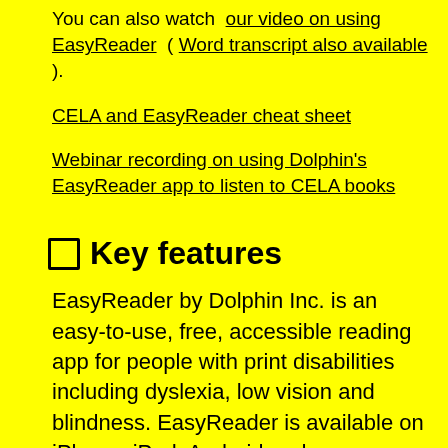You can also watch our video on using EasyReader ( Word transcript also available ).
CELA and EasyReader cheat sheet
Webinar recording on using Dolphin's EasyReader app to listen to CELA books
🗹 Key features
EasyReader by Dolphin Inc. is an easy-to-use, free, accessible reading app for people with print disabilities including dyslexia, low vision and blindness. EasyReader is available on iPhone, iPad, Android and